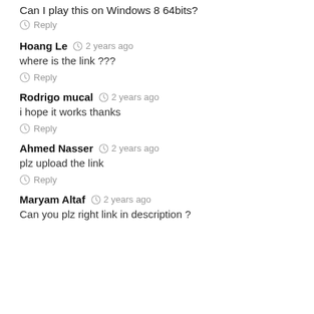Can I play this on Windows 8 64bits?
Reply
Hoang Le  2 years ago
where is the link ???
Reply
Rodrigo mucal  2 years ago
i hope it works thanks
Reply
Ahmed Nasser  2 years ago
plz upload the link
Reply
Maryam Altaf  2 years ago
Can you plz right link in description ?